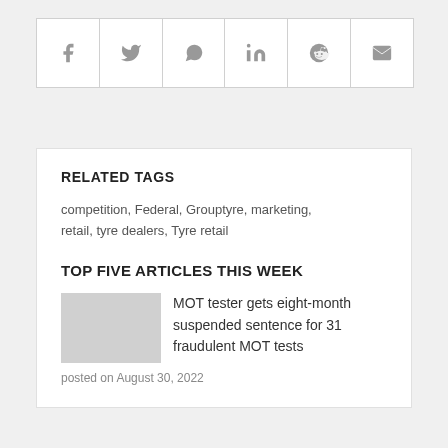[Figure (other): Social share bar with icons for Facebook, Twitter, WhatsApp, LinkedIn, Reddit, and Email]
RELATED TAGS
competition, Federal, Grouptyre, marketing, retail, tyre dealers, Tyre retail
TOP FIVE ARTICLES THIS WEEK
MOT tester gets eight-month suspended sentence for 31 fraudulent MOT tests
posted on August 30, 2022